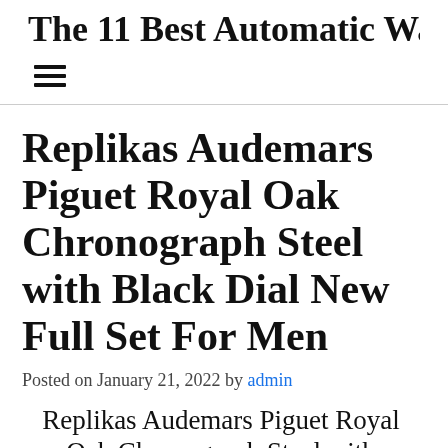The 11 Best Automatic Watches F
Replikas Audemars Piguet Royal Oak Chronograph Steel with Black Dial New Full Set For Men
Posted on January 21, 2022 by admin
Replikas Audemars Piguet Royal Oak Chronograph Steel with Black